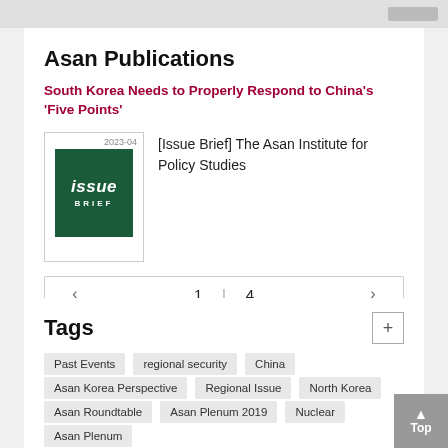Asan Publications
South Korea Needs to Properly Respond to China's 'Five Points'
[Issue Brief] The Asan Institute for Policy Studies
1  |  4
Tags
Past Events
regional security
China
Asan Korea Perspective
Regional Issue
North Korea
Asan Roundtable
Asan Plenum 2019
Nuclear
Asan Plenum